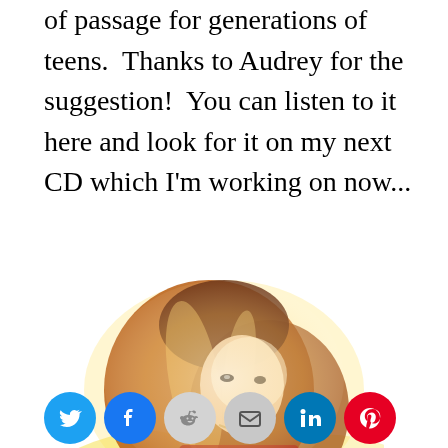of passage for generations of teens.  Thanks to Audrey for the suggestion!  You can listen to it here and look for it on my next CD which I'm working on now...
[Figure (photo): A woman with long reddish-blonde hair in a high-contrast, overexposed artistic photo, wearing a red top, facing slightly to the side.]
[Figure (infographic): Social media share icons: Twitter (blue bird), Facebook (blue f), Reddit (grey alien), Email (grey envelope), LinkedIn (blue in), Pinterest (red P)]